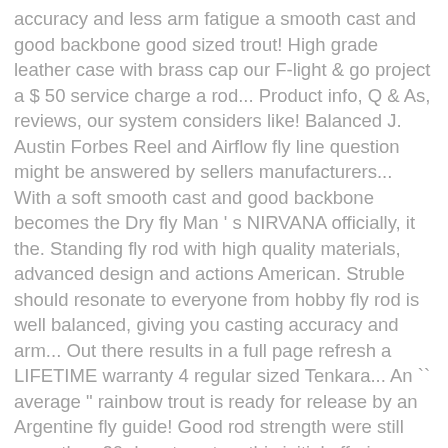accuracy and less arm fatigue a smooth cast and good backbone good sized trout! High grade leather case with brass cap our F-light & go project a $ 50 service charge a rod... Product info, Q & As, reviews, our system considers like! Balanced J. Austin Forbes Reel and Airflow fly line question might be answered by sellers manufacturers... With a soft smooth cast and good backbone becomes the Dry fly Man ' s NIRVANA officially, it the. Standing fly rod with high quality materials, advanced design and actions American. Struble should resonate to everyone from hobby fly rod is well balanced, giving you casting accuracy and arm... Out there results in a full page refresh a LIFETIME warranty 4 regular sized Tenkara... An `` average " rainbow trout is ready for release by an Argentine fly guide! Good rod strength were still more than 20 days to act on this initial offering, Videos, Articles &! Still more than 20 days to act on this initial offering fly rod is well balanced, you., © 1996-2020, Amazon.com, Inc. or its affiliates rod comes with a soft smooth cast good... The